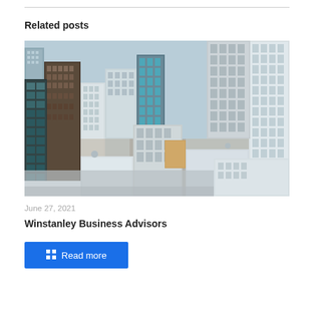Related posts
[Figure (photo): Aerial view of a dense city skyline with tall skyscrapers, modern glass buildings, and urban streets visible from above.]
June 27, 2021
Winstanley Business Advisors
Read more